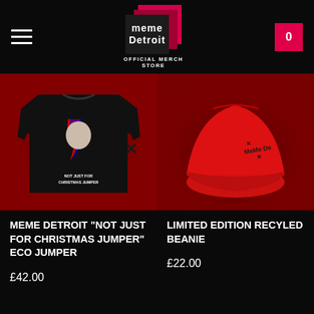Meme Detroit Official Merch Store
[Figure (photo): Black sweatshirt with graphic print on red background with heart and X symbols]
[Figure (photo): Red beanie hat with Meme Detroit logo on red textured background]
MEME DETROIT "NOT JUST FOR CHRISTMAS JUMPER" ECO JUMPER
£42.00
LIMITED EDITION RECYLED BEANIE
£22.00